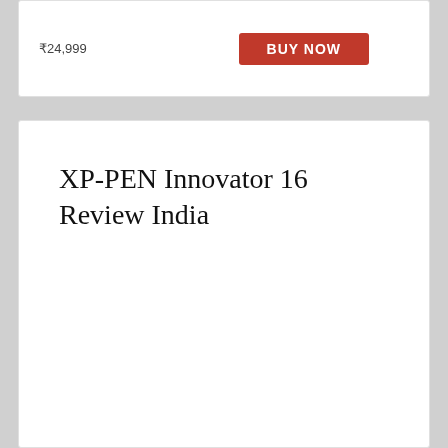[Figure (other): Top card with price text and a red buy button, partially cropped at top of page]
XP-PEN Innovator 16 Review India